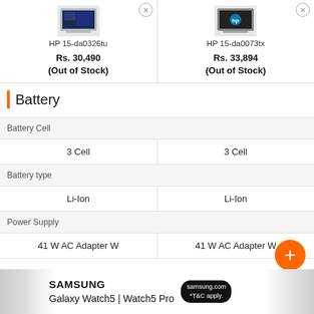HP 15-da0326tu
Rs. 30,490
(Out of Stock)
HP 15-da0073tx
Rs. 33,894
(Out of Stock)
Battery
|  | HP 15-da0326tu | HP 15-da0073tx |
| --- | --- | --- |
| Battery Cell | 3 Cell | 3 Cell |
| Battery type | Li-Ion | Li-Ion |
| Power Supply | 41 W AC Adapter W | 41 W AC Adapter W |
[Figure (screenshot): Samsung Galaxy Watch5 | Watch5 Pro advertisement banner]